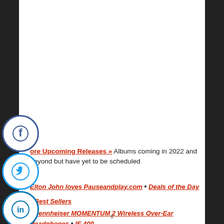[Figure (other): Social media share icons (Facebook, Twitter, LinkedIn, Reddit, Email) stacked vertically on the left side]
More Upcoming Releases » Albums coming in 2022 and beyond but have yet to be scheduled
Elton John loves Pauseandplay.com • Deals of the Day
• Best Sellers
• Sennheiser MOMENTUM 2 Wireless Over-Ear Headphones • IE 400
x